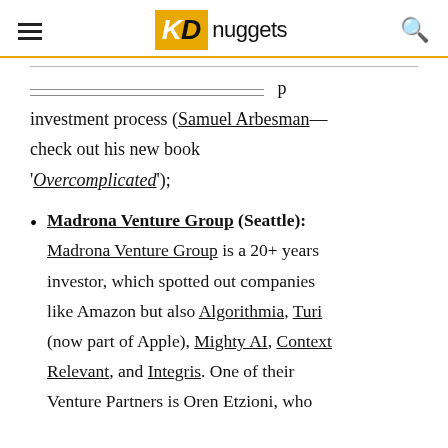KDnuggets
investment process (Samuel Arbesman—check out his new book 'Overcomplicated');
Madrona Venture Group (Seattle): Madrona Venture Group is a 20+ years investor, which spotted out companies like Amazon but also Algorithmia, Turi (now part of Apple), Mighty AI, Context Relevant, and Integris. One of their Venture Partners is Oren Etzioni, who